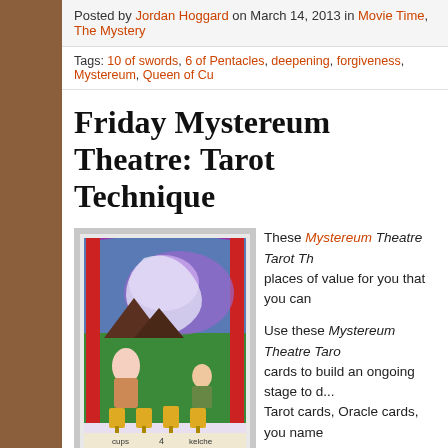Posted by Jordan Hoggard on March 14, 2013 in Movie Time, The Mystery
Tags: 10 of swords, 6 of Pentacles, deepening, forgiveness, Mystereum, Queen of Cu...
Friday Mystereum Theatre: Tarot Technique
[Figure (illustration): Tarot card illustration showing the 4 of Cups card with stylized figures, cups/chalices, and colorful background with purple, green, and red elements]
These Mystereum Theatre Tarot Th... places of value for you that you can...
Use these Mystereum Theatre Taro... cards to build an ongoing stage to d... Tarot cards, Oracle cards, you name... that comes with Mystereum provide... catalysts to work with your cards ~ a... with or without the book. A great da...
As your cards speak to you today, also check out The Mystereum P... cards literally visit, visually speak, cameo with, and work together w... your own Tarot lineage. Pedigree your readings with the vibrancy of... subtly as they do like seeing a friend time after time. That just do...